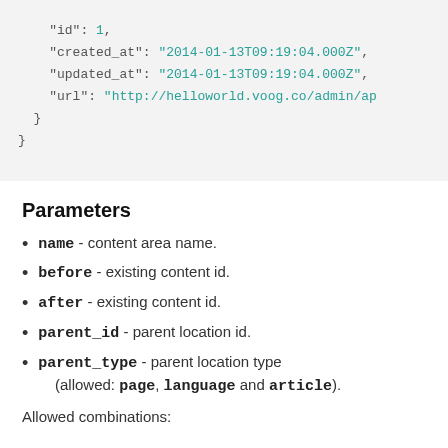[Figure (screenshot): Code block showing JSON with keys: id, created_at, updated_at, url, with closing braces]
Parameters
name - content area name.
before - existing content id.
after - existing content id.
parent_id - parent location id.
parent_type - parent location type (allowed: page, language and article).
Allowed combinations: